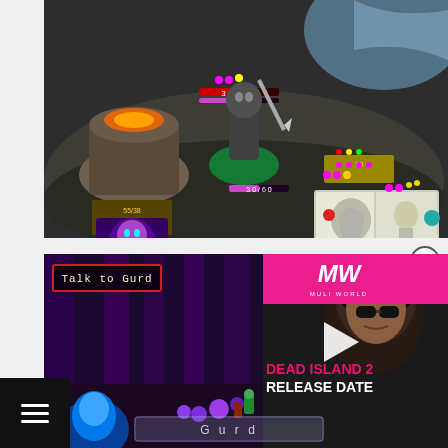[Figure (screenshot): Top-down fantasy RPG mobile game screenshot showing characters battling in a dark rocky environment with health bars, gem indicators, and character cards displayed]
[Figure (screenshot): Mobile game video ad overlay showing 'Talk to Gurd' button in upper left, MW (Muli World) logo in pink bar upper right, play button triangle, 'DEAD ISLAND 2 RELEASE DATE' text in pink and white, and 'Gurd' name bar at bottom]